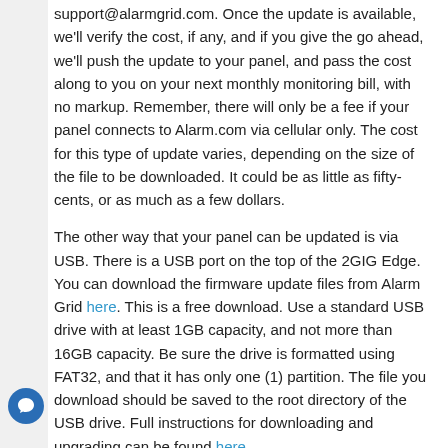support@alarmgrid.com. Once the update is available, we'll verify the cost, if any, and if you give the go ahead, we'll push the update to your panel, and pass the cost along to you on your next monthly monitoring bill, with no markup. Remember, there will only be a fee if your panel connects to Alarm.com via cellular only. The cost for this type of update varies, depending on the size of the file to be downloaded. It could be as little as fifty-cents, or as much as a few dollars.
The other way that your panel can be updated is via USB. There is a USB port on the top of the 2GIG Edge. You can download the firmware update files from Alarm Grid here. This is a free download. Use a standard USB drive with at least 1GB capacity, and not more than 16GB capacity. Be sure the drive is formatted using FAT32, and that it has only one (1) partition. The file you download should be saved to the root directory of the USB drive. Full instructions for downloading and upgrading can be found here.
Once the file has been downloaded to the USB drive, remove the drive and take it to the 2GIG Edge panel. The USB port is on top of the panel, covered by a rubber